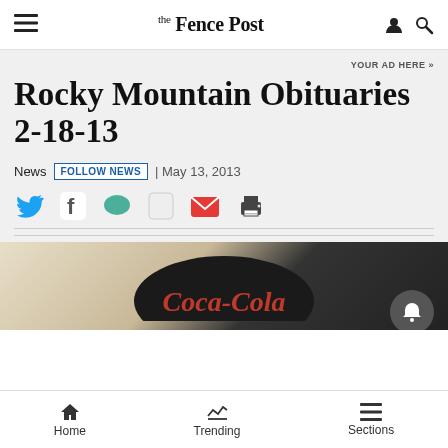the Fence Post
YOUR AD HERE »
Rocky Mountain Obituaries 2-18-13
News  FOLLOW NEWS  | May 13, 2013
[Figure (screenshot): Social sharing icons row: Twitter (blue bird), Facebook (f), chat bubble (teal), share (white), email (red envelope), print (printer)]
[Figure (photo): Partial photo showing what appears to be a Coca-Cola branded item, dark colored, against a light background]
Home  Trending  Sections